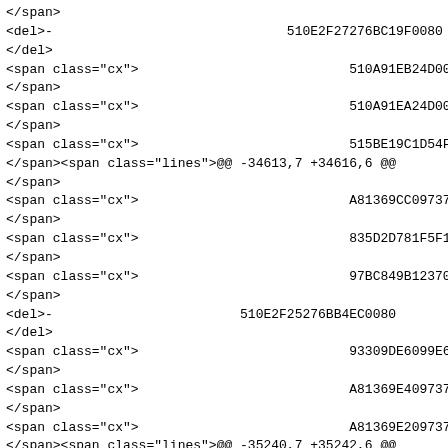</span>
<del>-                                   510E2F27276BC19F0080
</del>
<span class="cx">                                   510A91EB24D00
</span>
<span class="cx">                                   510A91EA24D004
</span>
<span class="cx">                                   515BE19C1D54F6
</span><span class="lines">@@ -34613,7 +34616,6 @@
</span>
<span class="cx">                                   A81369CC097374
</span>
<span class="cx">                                   835D2D781F5F1F
</span>
<span class="cx">                                   97BC849B12370A
</span>
<del>-                          510E2F25276BB4EC0080
</del>
<span class="cx">                                   93309DE6099E6
</span>
<span class="cx">                                   A81369E40973740
</span>
<span class="cx">                                   A81369E20973740
</span><span class="lines">@@ -35240,7 +35242,6 @@
</span>
<span class="cx">                                   1C24EEA91C72A7
</span>
<span class="cx">                                   FDA15EAC12B03B
</span>
<span class="cx">                                   518F5002194CA0